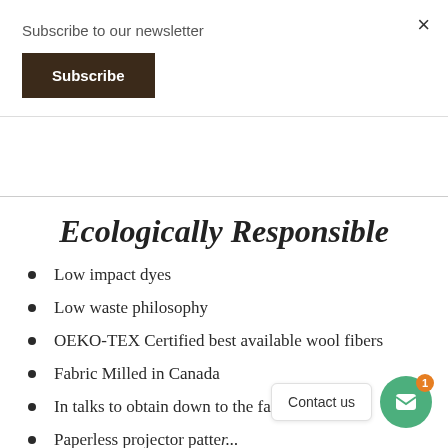Subscribe to our newsletter
Subscribe
×
Ecologically Responsible
Low impact dyes
Low waste philosophy
OEKO-TEX Certified best available wool fibers
Fabric Milled in Canada
In talks to obtain down to the farm sourcing
Paperless projector patte...
Low-cost alterations to keep Bumby out of
Contact us